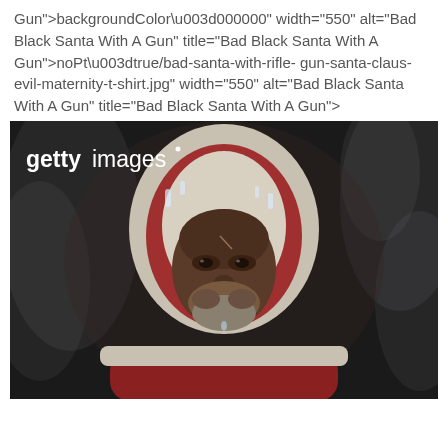Gun">backgroundColo r\u003d000000" width="550" alt="Bad Black Santa With A Gun" title="Bad Black Santa With A Gun">noPt\u003dtrue/bad-santa-with-rifle-gun-santa-claus-evil-maternity-t-shirt.jpg" width="550" alt="Bad Black Santa With A Gun" title="Bad Black Santa With A Gun">
[Figure (photo): Getty Images watermarked photo of a Black man in a worn Santa Claus suit with fur-trimmed hood, looking intensely at the camera against a dark smoky background.]